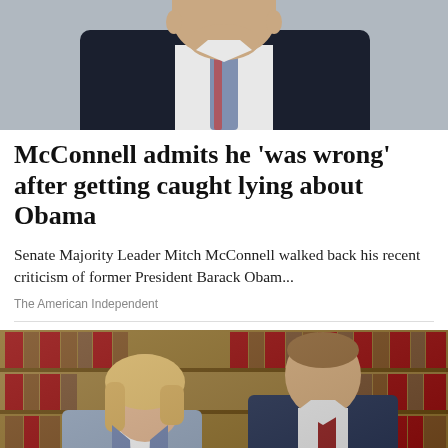[Figure (photo): Cropped photo of a man in a dark suit with a red and blue striped tie, photographed from the chest up against a light background]
McConnell admits he 'was wrong' after getting caught lying about Obama
Senate Majority Leader Mitch McConnell walked back his recent criticism of former President Barack Obam...
The American Independent
[Figure (photo): Two lawyers standing in front of a bookcase filled with law books. A blonde woman in a gray blazer holds an open book; a man in a dark navy suit with a red tie stands beside her with arms crossed.]